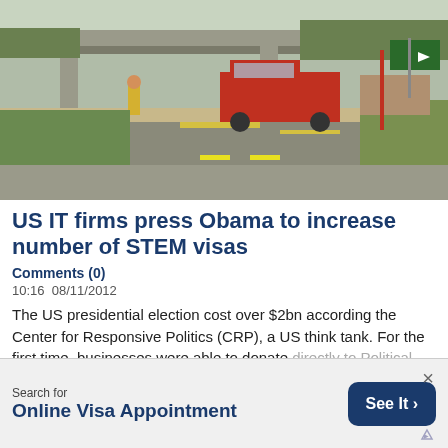[Figure (photo): Street-level photo of a road intersection with a red pickup truck and other vehicles, an overpass bridge in the background, green highway sign pointing right, and grass on the right side. Daytime outdoor scene.]
US IT firms press Obama to increase number of STEM visas
Comments (0)
10:16  08/11/2012
The US presidential election cost over $2bn according the Center for Responsive Politics (CRP), a US think tank. For the first time, businesses were able to donate directly to Political Action Committee...
Search for
Online Visa Appointment
See It >